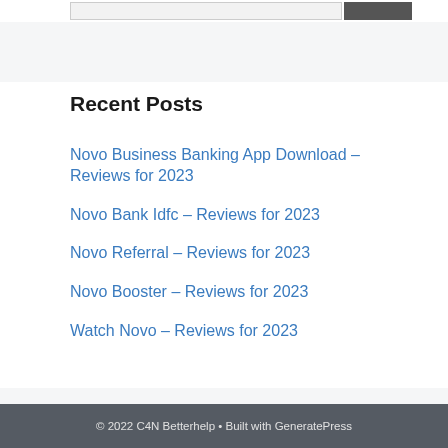Recent Posts
Novo Business Banking App Download – Reviews for 2023
Novo Bank Idfc – Reviews for 2023
Novo Referral – Reviews for 2023
Novo Booster – Reviews for 2023
Watch Novo – Reviews for 2023
© 2022 C4N Betterhelp • Built with GeneratePress